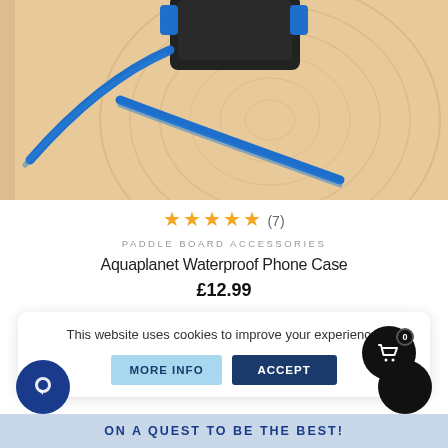[Figure (photo): Aquaplanet waterproof phone case with blue lanyard strap on a wooden surface]
★★★★★ (7)
PADDLE BOARD ACCESSORIES
Aquaplanet Waterproof Phone Case
£12.99
This website uses cookies to improve your experience.
MORE INFO
ACCEPT
ON A QUEST TO BE THE BEST!